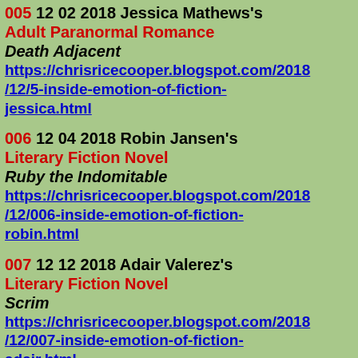005  12 02 2018 Jessica Mathews's Adult Paranormal Romance Death Adjacent https://chrisricecooper.blogspot.com/2018/12/5-inside-emotion-of-fiction-jessica.html
006  12 04 2018 Robin Jansen's Literary Fiction Novel Ruby the Indomitable https://chrisricecooper.blogspot.com/2018/12/006-inside-emotion-of-fiction-robin.html
007  12 12 2018  Adair Valerez's Literary Fiction Novel Scrim https://chrisricecooper.blogspot.com/2018/12/007-inside-emotion-of-fiction-adair.html